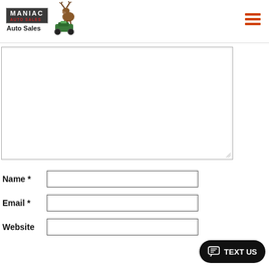[Figure (logo): Maniac Auto Sales logo with moose and ATV illustration]
[Figure (screenshot): Hamburger menu icon (three orange horizontal lines)]
[Figure (screenshot): Large empty textarea form field with resize handle]
Name *
[Figure (screenshot): Name input text field]
Email *
[Figure (screenshot): Email input text field]
Website
[Figure (screenshot): Website input text field]
[Figure (other): TEXT US chat button in black rounded rectangle]